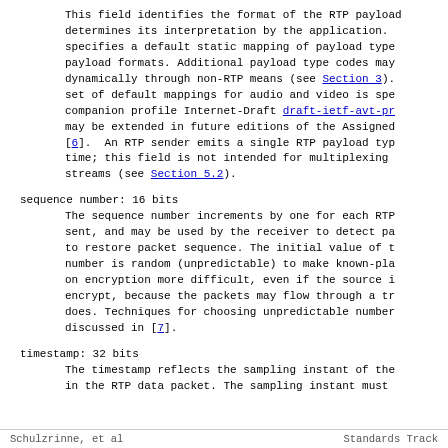This field identifies the format of the RTP payload and determines its interpretation by the application. RFC 1890 specifies a default static mapping of payload type codes to payload formats. Additional payload type codes may be defined dynamically through non-RTP means (see Section 3). The full set of default mappings for audio and video is specified in the companion profile Internet-Draft draft-ietf-avt-profile which may be extended in future editions of the Assigned Numbers RFC [6]. An RTP sender emits a single RTP payload type at any time; this field is not intended for multiplexing separate streams (see Section 5.2).
sequence number: 16 bits
    The sequence number increments by one for each RTP data packet sent, and may be used by the receiver to detect packet loss and to restore packet sequence. The initial value of the sequence number is random (unpredictable) to make known-plaintext attacks on encryption more difficult, even if the source itself does not encrypt, because the packets may flow through a translator that does. Techniques for choosing unpredictable numbers are discussed in [7].
timestamp: 32 bits
    The timestamp reflects the sampling instant of the first octet in the RTP data packet. The sampling instant must
Schulzrinne, et al                    Standards Track